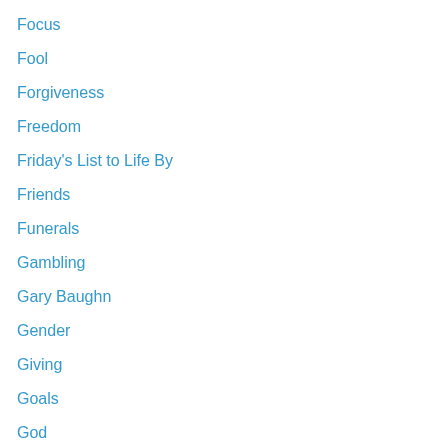Focus
Fool
Forgiveness
Freedom
Friday's List to Life By
Friends
Funerals
Gambling
Gary Baughn
Gender
Giving
Goals
God
Goodness
Gospel
Gossip
Grace
Great Bible Verses
Growth
Guilt